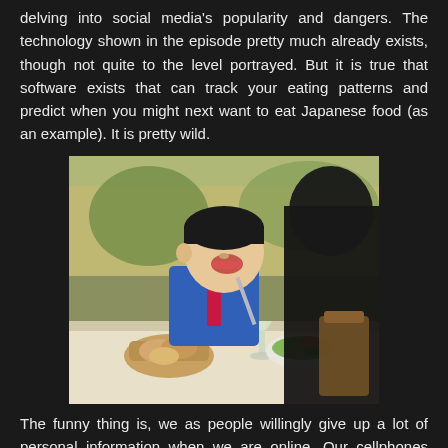delving into social media's popularity and dangers. The technology shown in the episode pretty much already exists, though not quite to the level portrayed. But it is true that software exists that can track your eating patterns and predict when you might next want to eat Japanese food (as an example). It is pretty wild.
[Figure (illustration): Anime screenshot showing a character in a blue suit eating at a restaurant table with bread, a wine glass, and salad visible. A dark silhouetted figure is in the foreground right.]
The funny thing is, we as people willingly give up a lot of personal information when we are online. Our cellphones track us out of necessity to keep us connected. But that information can be harvested and used. I remember after I finally got a smart phone years ago, I was surprised to see Google saying, "We saw you